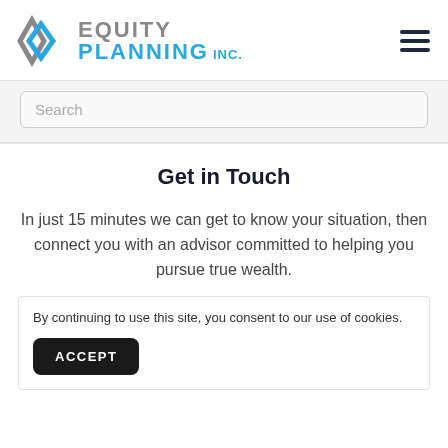[Figure (logo): Equity Planning Inc. logo with diamond/arrow icon in gray and blue, and text 'EQUITY PLANNING INC.' in gray and blue]
Search
Get in Touch
In just 15 minutes we can get to know your situation, then connect you with an advisor committed to helping you pursue true wealth.
By continuing to use this site, you consent to our use of cookies.
ACCEPT